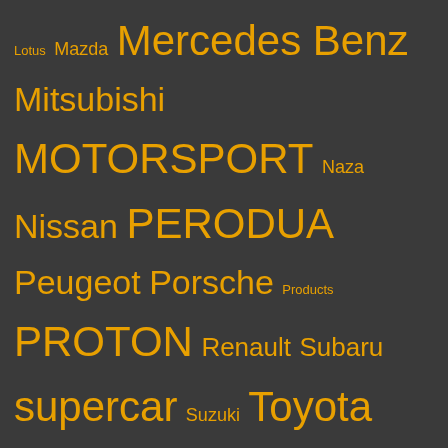Lotus Mazda Mercedes Benz Mitsubishi MOTORSPORT Naza Nissan PERODUA Peugeot Porsche Products PROTON Renault Subaru supercar Suzuki Toyota Volkswagen Volvo WEEKLY CAR HIGHLIGHTS >>
CARI INFO DI KDI?
To search type and hit enter
LIKE US FOR LATEST CAR INFO!
[Figure (infographic): Banner with red/yellow top bar saying 'LIKE KDI FB FOR UPDATES' with red arrow icon, and blue bottom section saying 'TANYA / KONGSI INFO KERETA' and 'CLICK HERE TO ASK / SHARE']